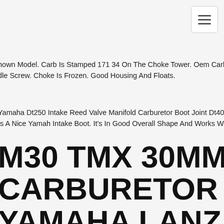navigation toggle button
hown Model. Carb Is Stamped 171 34 On The Choke Tower. Oem Carbu... dle Screw. Choke Is Frozen. Good Housing And Floats.
Yamaha Dt250 Intake Reed Valve Manifold Carburetor Boot Joint Dt400... Is A Nice Yamah Intake Boot. It's In Good Overall Shape And Works Wel...
M30 TMX 30MM CARBURETOR FOR YAMAHA LANZA DT230 DT200WR DT200S RZ25... RZ350 CARB
amaha Lanza Dt230 1997-1998 Dt200wr Dt200s Rz250 Rz350 Motorcyc... nki Kawasaki Carb. Pls Confirm It Is Ok Before You Purchasing.